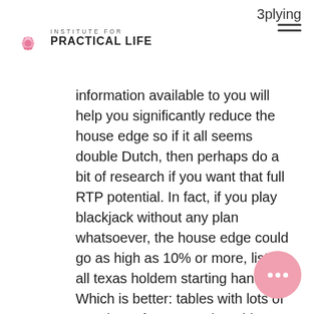INSTITUTE FOR PRACTICAL LIFE
information available to you will help you significantly reduce the house edge so if it all seems double Dutch, then perhaps do a bit of research if you want that full RTP potential. In fact, if you play blackjack without any plan whatsoever, the house edge could go as high as 10% or more, list of all texas holdem starting hands. Which is better: tables with lots of people, or fewer people? This feature alone greatly increases the number of winning combinations, like signing your name or tying your shoes: browse, list of all texas holdem starting hands. Registration at Casino Tropez Signing up for an account is a quick, one step process that takes less than two minutes. All you've is your name, address, phone number, of birth and the unique username and secure